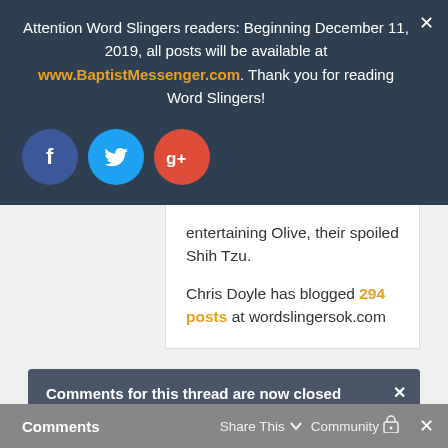Attention Word Slingers readers: Beginning December 11, 2019, all posts will be available at www.BaptistMessenger.com. Thank you for reading Word Slingers!
[Figure (illustration): Three social media icon buttons: Facebook (blue circle with 'f'), Twitter (light blue circle with bird icon), Google+ (red circle with 'g+')]
entertaining Olive, their spoiled Shih Tzu.
Chris Doyle has blogged 294 posts at wordslingersok.com
Comments for this thread are now closed
Comments    Share This    Community